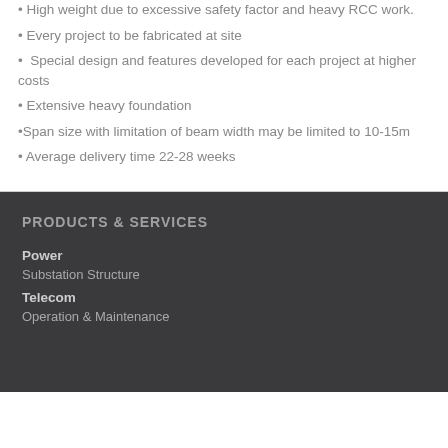• High weight due to excessive safety factor and heavy RCC work.
• Every project to be fabricated at site
• Special design and features developed for each project at higher costs
• Extensive heavy foundation
•Span size with limitation of beam width may be limited to 10-15m
• Average delivery time 22-28 weeks
PRODUCTS & SERVICES
Power
Substation Structure
Telecom
Operation & Maintenance